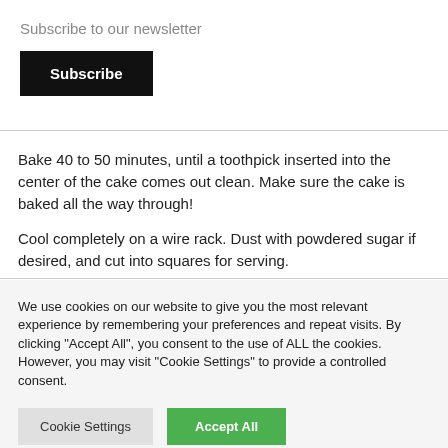Subscribe to our newsletter
Subscribe
Bake 40 to 50 minutes, until a toothpick inserted into the center of the cake comes out clean. Make sure the cake is baked all the way through!
Cool completely on a wire rack. Dust with powdered sugar if desired, and cut into squares for serving.
We use cookies on our website to give you the most relevant experience by remembering your preferences and repeat visits. By clicking "Accept All", you consent to the use of ALL the cookies. However, you may visit "Cookie Settings" to provide a controlled consent.
Cookie Settings
Accept All